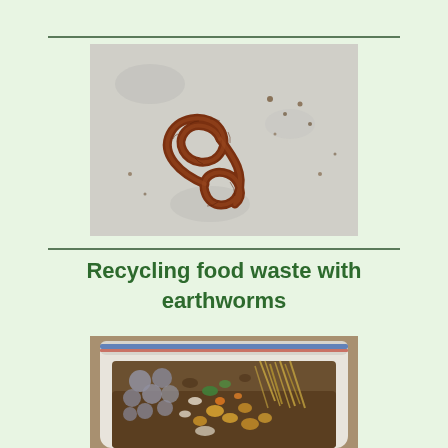[Figure (photo): Close-up photo of an earthworm (reddish-brown, coiled into an S-shape) on a light grey/white surface with soil specks]
Recycling food waste with earthworms
[Figure (photo): Photo of a white plastic container/bin filled with food waste compost — visible egg shells, vegetable scraps, soil, and straw/hay]